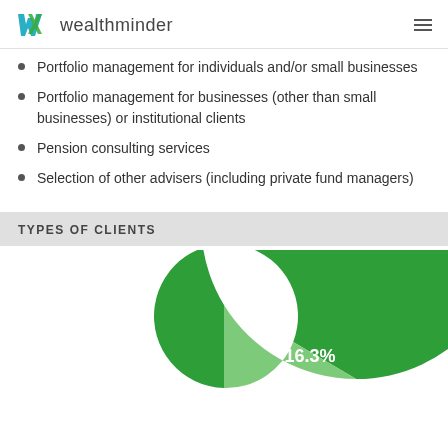wealthminder
Portfolio management for individuals and/or small businesses
Portfolio management for businesses (other than small businesses) or institutional clients
Pension consulting services
Selection of other advisers (including private fund managers)
TYPES OF CLIENTS
[Figure (donut-chart): Types of Clients]